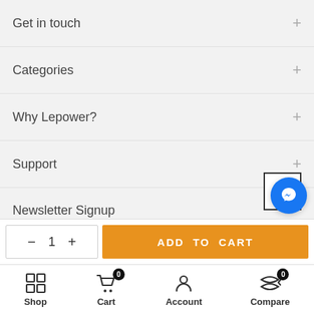Get in touch
Categories
Why Lepower?
Support
Newsletter Signup
- 1 +
ADD TO CART
Shop
Cart 0
Account
Compare 0